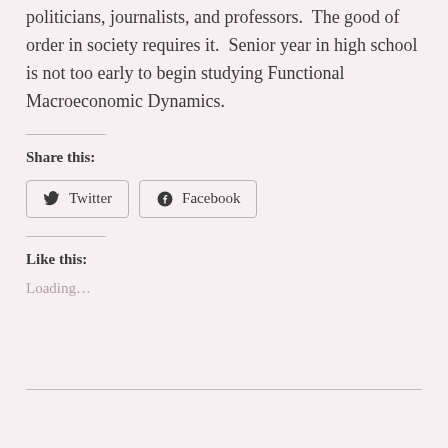politicians, journalists, and professors.  The good of order in society requires it.  Senior year in high school is not too early to begin studying Functional Macroeconomic Dynamics.
Share this:
[Figure (other): Twitter share button with bird icon]
[Figure (other): Facebook share button with f icon]
Like this:
Loading...